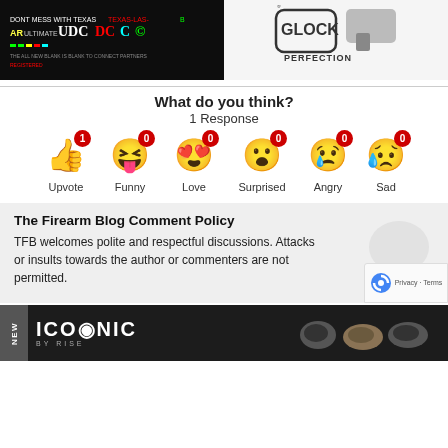[Figure (photo): Two advertisement images side by side: left shows a dark background with colorful text 'DONT MESS WITH TEXAS TEXAS-LAS-B' and gaming/gun brand logos; right shows a Glock pistol on white background with 'GLOCK PERFECTION' text]
What do you think?
1 Response
[Figure (infographic): Six reaction emoji buttons in a row: Upvote (thumbs up, count 1), Funny (silly face, count 0), Love (heart eyes, count 0), Surprised (wow face, count 0), Angry (crying face, count 0), Sad (sad face with tear, count 0)]
The Firearm Blog Comment Policy
TFB welcomes polite and respectful discussions. Attacks or insults towards the author or commenters are not permitted.
[Figure (photo): Advertisement banner: dark background with 'NEW' badge vertical text, 'ICONIC BY RISE' brand logo in white, and firearm trigger group images on right side]